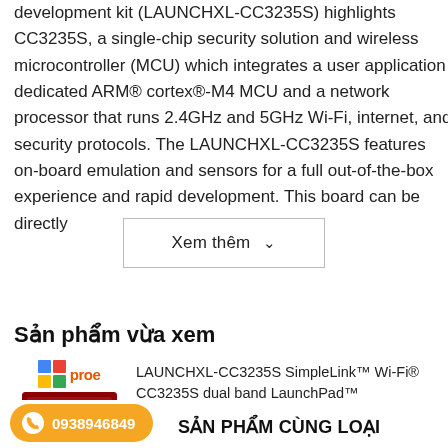development kit (LAUNCHXL-CC3235S) highlights CC3235S, a single-chip security solution and wireless microcontroller (MCU) which integrates a user application dedicated ARM® cortex®-M4 MCU and a network processor that runs 2.4GHz and 5GHz Wi-Fi, internet, and security protocols. The LAUNCHXL-CC3235S features on-board emulation and sensors for a full out-of-the-box experience and rapid development. This board can be directly
Xem thêm ∨
Sản phẩm vừa xem
LAUNCHXL-CC3235S SimpleLink™ Wi-Fi® CC3235S dual band LaunchPad™ development kit
[Figure (screenshot): Red circuit board (LaunchPad development kit) with proe logo above it]
0938946849
SẢN PHẨM CÙNG LOẠI